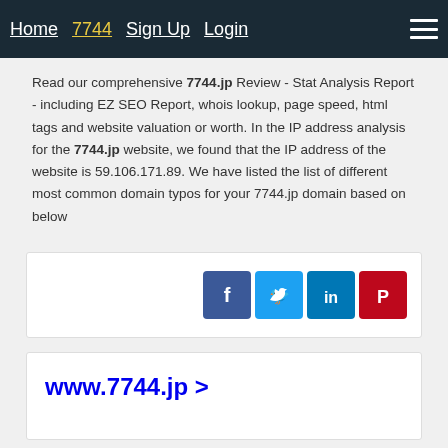Home  7744  Sign Up  Login
Read our comprehensive 7744.jp Review - Stat Analysis Report - including EZ SEO Report, whois lookup, page speed, html tags and website valuation or worth. In the IP address analysis for the 7744.jp website, we found that the IP address of the website is 59.106.171.89. We have listed the list of different most common domain typos for your 7744.jp domain based on below
[Figure (infographic): Social sharing icons for Facebook, Twitter, LinkedIn, and Pinterest]
www.7744.jp >